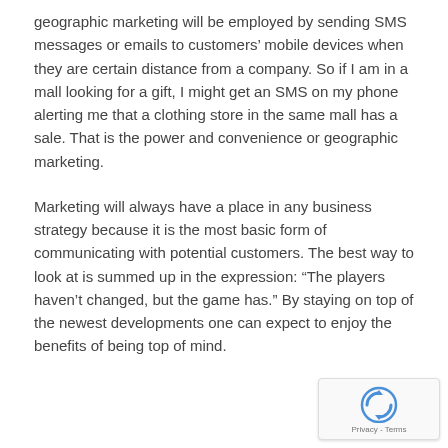geographic marketing will be employed by sending SMS messages or emails to customers' mobile devices when they are certain distance from a company. So if I am in a mall looking for a gift, I might get an SMS on my phone alerting me that a clothing store in the same mall has a sale. That is the power and convenience or geographic marketing.
Marketing will always have a place in any business strategy because it is the most basic form of communicating with potential customers. The best way to look at is summed up in the expression: “The players haven’t changed, but the game has.” By staying on top of the newest developments one can expect to enjoy the benefits of being top of mind.
[Figure (logo): reCAPTCHA badge with Google logo icon and Privacy - Terms text]